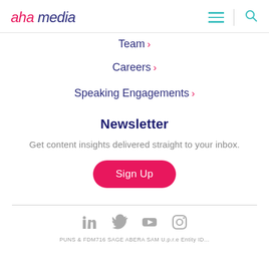aha media
Team >
Careers >
Speaking Engagements >
Newsletter
Get content insights delivered straight to your inbox.
Sign Up
Social media icons: LinkedIn, Twitter, YouTube, Instagram